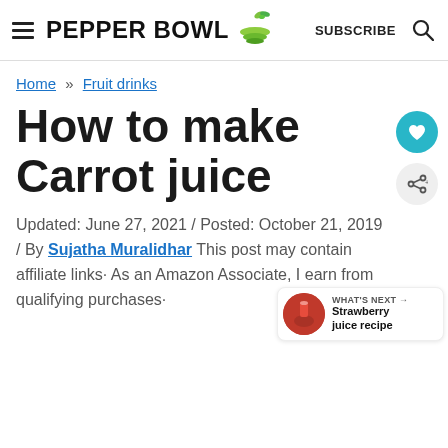PEPPER BOWL | SUBSCRIBE
Home » Fruit drinks
How to make Carrot juice
Updated: June 27, 2021 / Posted: October 21, 2019 / By Sujatha Muralidhar This post may contain affiliate links· As an Amazon Associate, I earn from qualifying purchases·